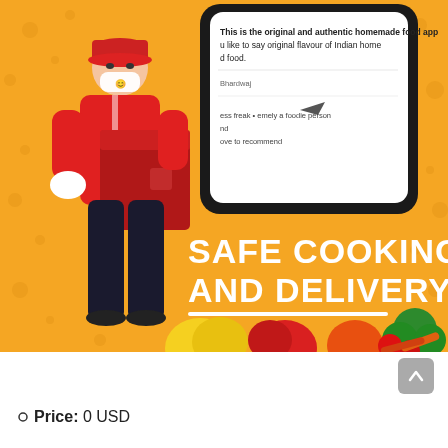[Figure (illustration): Food delivery app promotional banner with orange background, delivery person illustration holding a red package, smartphone mockup showing app reviews, 'SAFE COOKING AND DELIVERY' text in white, vegetables at bottom]
Price: 0 USD